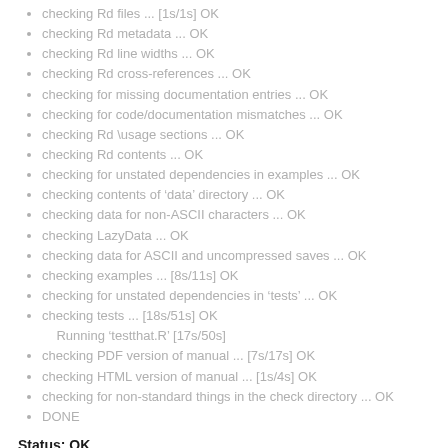checking Rd files ... [1s/1s] OK
checking Rd metadata ... OK
checking Rd line widths ... OK
checking Rd cross-references ... OK
checking for missing documentation entries ... OK
checking for code/documentation mismatches ... OK
checking Rd \usage sections ... OK
checking Rd contents ... OK
checking for unstated dependencies in examples ... OK
checking contents of ‘data’ directory ... OK
checking data for non-ASCII characters ... OK
checking LazyData ... OK
checking data for ASCII and uncompressed saves ... OK
checking examples ... [8s/11s] OK
checking for unstated dependencies in ‘tests’ ... OK
checking tests ... [18s/51s] OK
    Running ‘testthat.R’ [17s/50s]
checking PDF version of manual ... [7s/17s] OK
checking HTML version of manual ... [1s/4s] OK
checking for non-standard things in the check directory ... OK
DONE
Status: OK